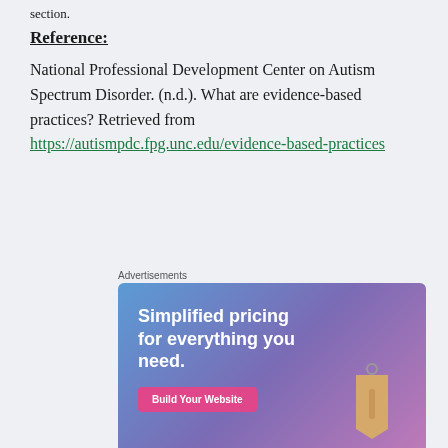section.
Reference:
National Professional Development Center on Autism Spectrum Disorder. (n.d.). What are evidence-based practices? Retrieved from https://autismpdc.fpg.unc.edu/evidence-based-practices
[Figure (illustration): Advertisement for a website builder service. Blue-to-purple gradient background with text 'Simplified pricing for everything you need.' and a pink 'Build Your Website' button, plus a decorative price tag graphic.]